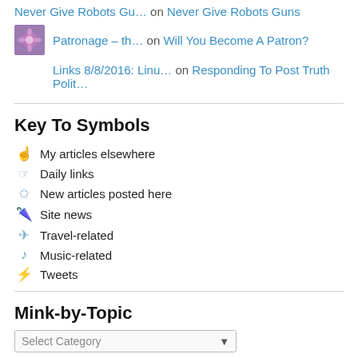Never Give Robots Gu… on Never Give Robots Guns
Patronage – th… on Will You Become A Patron?
Links 8/8/2016: Linu… on Responding To Post Truth Polit…
Key To Symbols
🖐 My articles elsewhere
☞ Daily links
✩ New articles posted here
🌂 Site news
✈ Travel-related
♪ Music-related
⚡ Tweets
Mink-by-Topic
Select Category